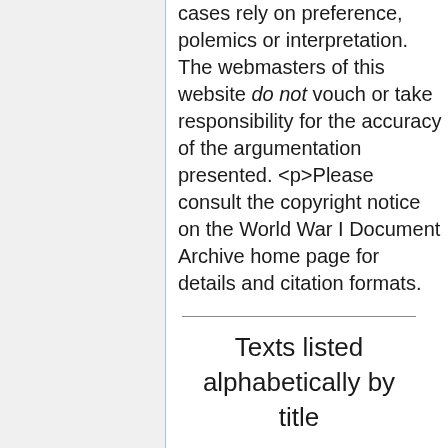cases rely on preference, polemics or interpretation. The webmasters of this website do not vouch or take responsibility for the accuracy of the argumentation presented. <p>Please consult the copyright notice on the World War I Document Archive home page for details and citation formats.
Texts listed alphabetically by title